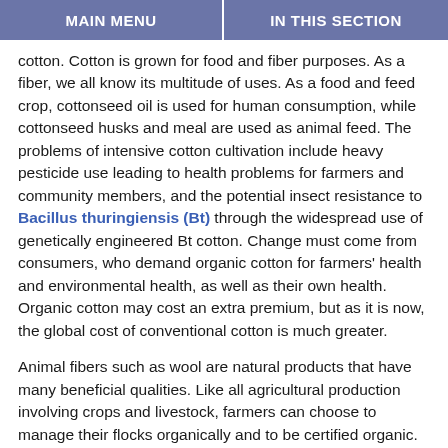MAIN MENU | IN THIS SECTION
cotton. Cotton is grown for food and fiber purposes. As a fiber, we all know its multitude of uses. As a food and feed crop, cottonseed oil is used for human consumption, while cottonseed husks and meal are used as animal feed. The problems of intensive cotton cultivation include heavy pesticide use leading to health problems for farmers and community members, and the potential insect resistance to Bacillus thuringiensis (Bt) through the widespread use of genetically engineered Bt cotton. Change must come from consumers, who demand organic cotton for farmers' health and environmental health, as well as their own health. Organic cotton may cost an extra premium, but as it is now, the global cost of conventional cotton is much greater.
Animal fibers such as wool are natural products that have many beneficial qualities. Like all agricultural production involving crops and livestock, farmers can choose to manage their flocks organically and to be certified organic. Animals raised organically for wool are subject to the same standards